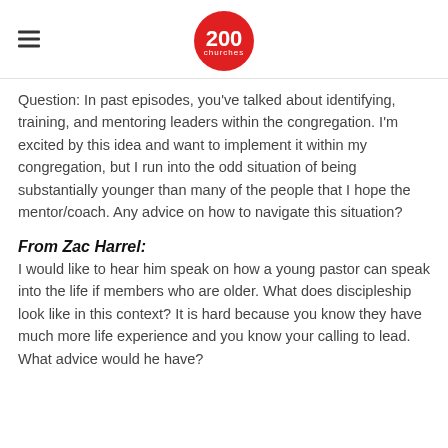200 churches logo
Question: In past episodes, you've talked about identifying, training, and mentoring leaders within the congregation. I'm excited by this idea and want to implement it within my congregation, but I run into the odd situation of being substantially younger than many of the people that I hope the mentor/coach. Any advice on how to navigate this situation?
From Zac Harrel:
I would like to hear him speak on how a young pastor can speak into the life if members who are older. What does discipleship look like in this context? It is hard because you know they have much more life experience and you know your calling to lead. What advice would he have?